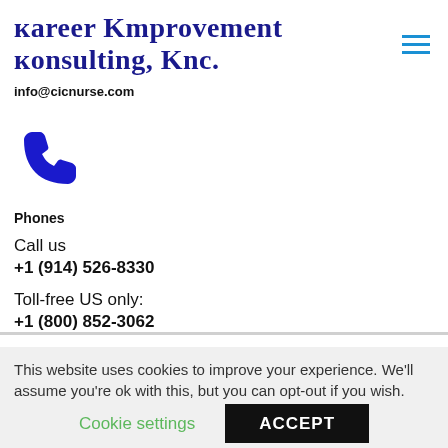Career Improvement Consulting, Inc.
info@cicnurse.com
[Figure (illustration): Blue telephone/phone icon]
Phones
Call us
+1 (914) 526-8330
Toll-free US only:
+1 (800) 852-3062
This website uses cookies to improve your experience. We'll assume you're ok with this, but you can opt-out if you wish.
Cookie settings
ACCEPT